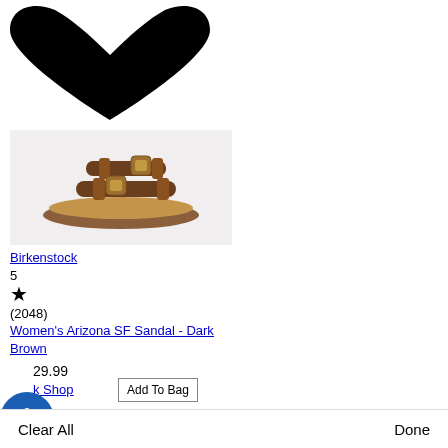[Figure (illustration): Large black heart icon at top of page]
[Figure (photo): Birkenstock Women's Arizona SF Sandal in Dark Brown on light grey background]
Birkenstock
5
★
(2048)
Women's Arizona SF Sandal - Dark Brown
$29.99
Quick Shop
Add To Bag
Clear All
Done